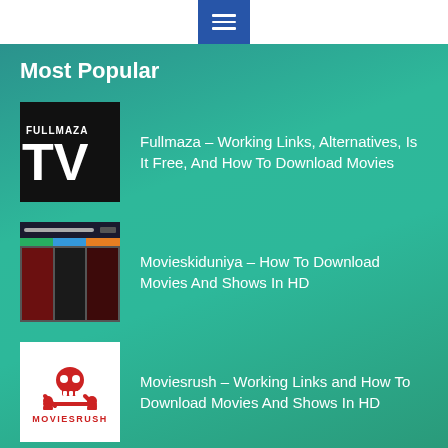☰ (hamburger menu button)
Most Popular
Fullmaza – Working Links, Alternatives, Is It Free, And How To Download Movies
Movieskiduniya – How To Download Movies And Shows In HD
Moviesrush – Working Links and How To Download Movies And Shows In HD